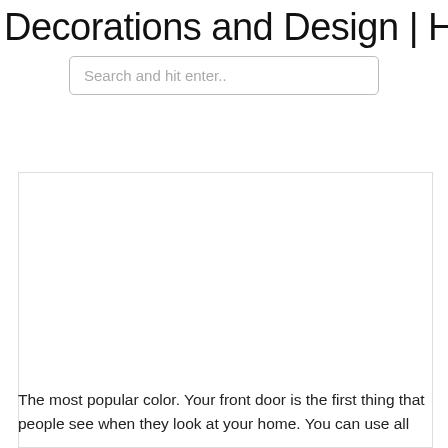Decorations and Design | Home and
Search and hit enter..
[Figure (other): Large blank/white image placeholder area within a bordered content box]
The most popular color. Your front door is the first thing that people see when they look at your home. You can use all